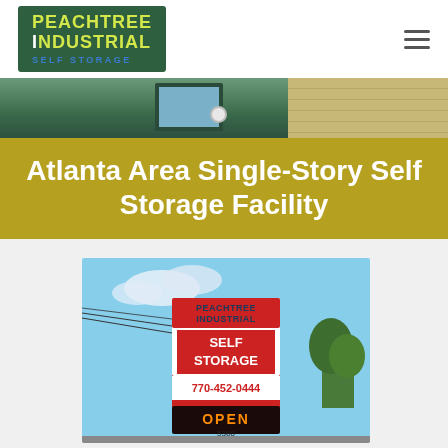[Figure (logo): Peachtree Industrial Self Storage logo — green background with yellow-green text]
Atlanta Area Single-Story Self Storage Facility
[Figure (photo): Photo of Peachtree Industrial Self Storage roadside sign showing 'SELF STORAGE', '770-452-0444', 'OPEN', and address '5360']